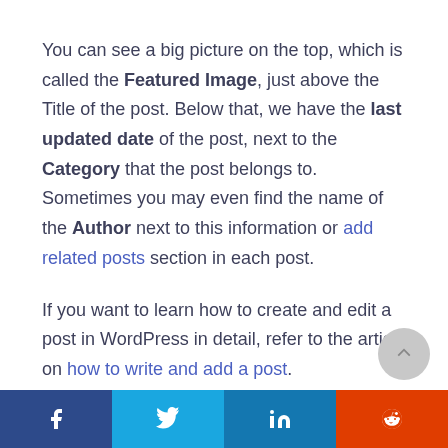You can see a big picture on the top, which is called the Featured Image, just above the Title of the post. Below that, we have the last updated date of the post, next to the Category that the post belongs to. Sometimes you may even find the name of the Author next to this information or add related posts section in each post.
If you want to learn how to create and edit a post in WordPress in detail, refer to the article on how to write and add a post.